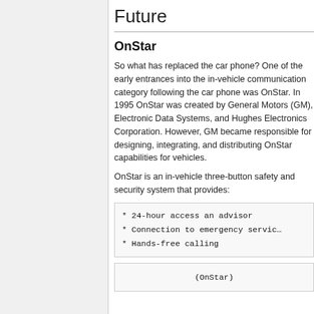Future
OnStar
So what has replaced the car phone? One of the early entrances into the in-vehicle communication category following the car phone was OnStar. In 1995 OnStar was created by General Motors (GM), Electronic Data Systems, and Hughes Electronics Corporation. However, GM became responsible for designing, integrating, and distributing OnStar capabilities for vehicles.
OnStar is an in-vehicle three-button safety and security system that provides:
* 24-hour access an advisor
* Connection to emergency servic...
* Hands-free calling
(OnStar)